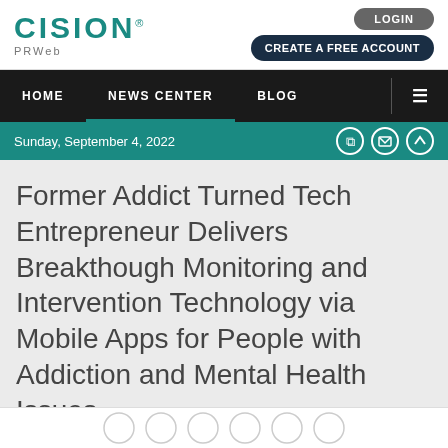CISION PRWeb
LOGIN | CREATE A FREE ACCOUNT
HOME | NEWS CENTER | BLOG
Sunday, September 4, 2022
Former Addict Turned Tech Entrepreneur Delivers Breakthough Monitoring and Intervention Technology via Mobile Apps for People with Addiction and Mental Health Issues